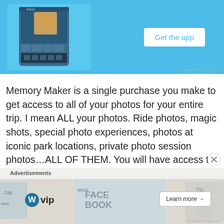[Figure (screenshot): Top advertisement banner with blue background showing a smartphone app screenshot on the left and a 'Get the app' white button on the right]
Memory Maker is a single purchase you make to get access to all of your photos for your entire trip. I mean ALL your photos. Ride photos, magic shots, special photo experiences, photos at iconic park locations, private photo session photos...ALL OF THEM. You will have access to them for 45 days from the date they are taken, and you can link up to 25 family members and you can all share the same Memory Maker. Everyone does not have to buy their own.
[Figure (screenshot): Bottom advertisement bar showing WordPress VIP logo on the left and a 'Learn more' button on the right, with a colorful background showing social media logos]